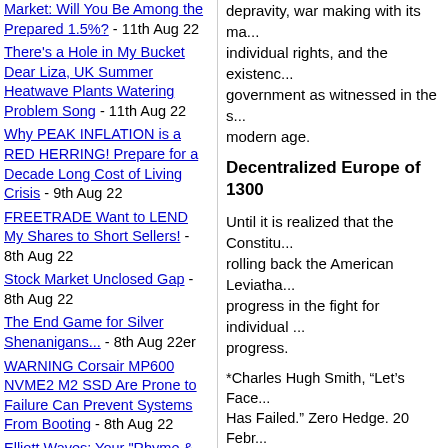Market: Will You Be Among the Prepared 1.5%? - 11th Aug 22
There's a Hole in My Bucket Dear Liza, UK Summer Heatwave Plants Watering Problem Song - 11th Aug 22
Why PEAK INFLATION is a RED HERRING! Prepare for a Decade Long Cost of Living Crisis - 9th Aug 22
FREETRADE Want to LEND My Shares to Short Sellers! - 8th Aug 22
Stock Market Unclosed Gap - 8th Aug 22
The End Game for Silver Shenanigans... - 8th Aug 22er
WARNING Corsair MP600 NVME2 M2 SSD Are Prone to Failure Can Prevent Systems From Booting - 8th Aug 22
Elliott Waves: Your "Rhyme & Reason" to Mainstream Stock Market
depravity, war making with its ma... individual rights, and the existenc... government as witnessed in the s... modern age.
Decentralized Europe of 1300
Until it is realized that the Constitu... rolling back the American Leviatha... progress in the fight for individual ... progress.
*Charles Hugh Smith, “Let’s Face... Has Failed.” Zero Hedge. 20 Febr...
**One example, Charles Hugh Sn... Feudal’ System is ‘Both False & F... 19 December 2018.
***David Gordon, ed., Strictly Cor... Volker Fund Memos of Murray N.... The Ludwig von Mises Institute, 2...
Antonius Aquinas@antoniusaqui...
By Antonius Aquinas